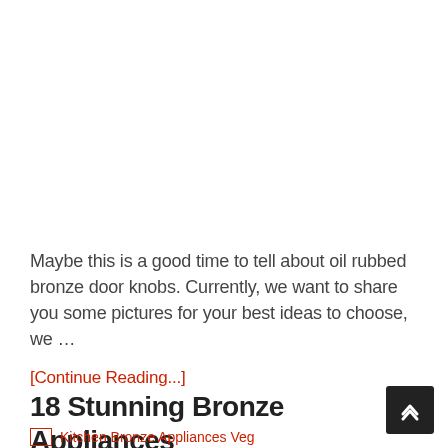Maybe this is a good time to tell about oil rubbed bronze door knobs. Currently, we want to share you some pictures for your best ideas to choose, we …
[Continue Reading...]
18 Stunning Bronze Appliances
[Figure (photo): Broken image placeholder with alt text 'Kitchen Bronze Appliances Veg']